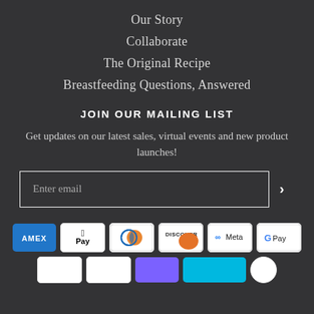Our Story
Collaborate
The Original Recipe
Breastfeeding Questions, Answered
JOIN OUR MAILING LIST
Get updates on our latest sales, virtual events and new product launches!
Enter email
[Figure (other): Payment method icons: AMEX, Apple Pay, Diners Club, Discover, Meta Pay, Google Pay, and partial row of additional payment icons]